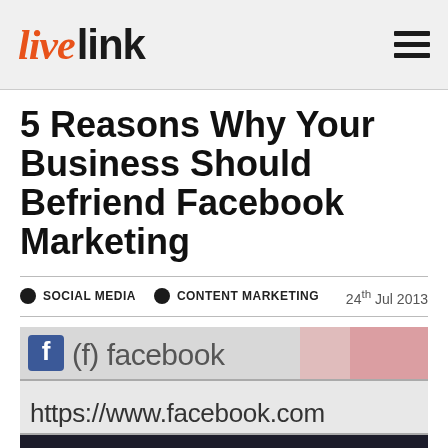live link
5 Reasons Why Your Business Should Befriend Facebook Marketing
SOCIAL MEDIA   CONTENT MARKETING   24th Jul 2013
[Figure (photo): Close-up screenshot of a web browser showing the Facebook website URL 'https://www.facebook.com' in the address bar, with the Facebook logo visible and social media icons at the bottom]